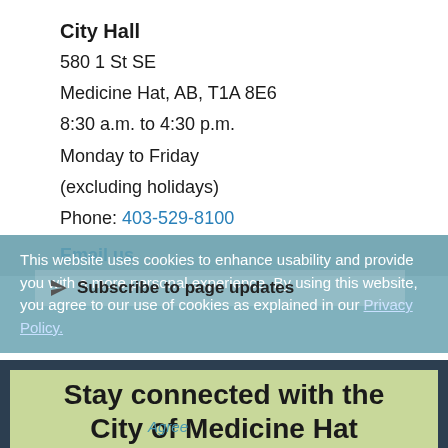City Hall
580 1 St SE
Medicine Hat, AB, T1A 8E6
8:30 a.m. to 4:30 p.m.
Monday to Friday
(excluding holidays)
Phone: 403-529-8100
Email us
Subscribe to page updates
This website uses cookies to enhance usability and provide you with a more personal experience. By using this website, you agree to our use of cookies as explained in our Privacy Policy.
Agree
Stay connected with the City of Medicine Hat
Stay up to date on Medicine Hat activities,